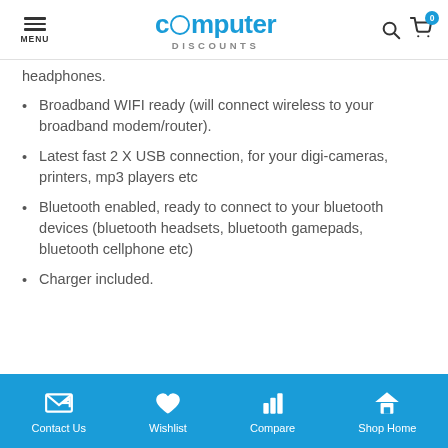computer DISCOUNTS — MENU, search, cart (0)
headphones.
Broadband WIFI ready (will connect wireless to your broadband modem/router).
Latest fast 2 X USB connection, for your digi-cameras, printers, mp3 players etc
Bluetooth enabled, ready to connect to your bluetooth devices (bluetooth headsets, bluetooth gamepads, bluetooth cellphone etc)
Charger included.
Contact Us | Wishlist | Compare | Shop Home